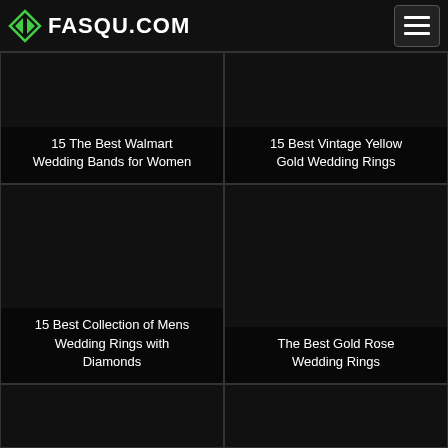FASQU.COM
[Figure (other): Dark image card for '15 The Best Walmart Wedding Bands for Women']
15 The Best Walmart Wedding Bands for Women
[Figure (other): Dark image card for '15 Best Vintage Yellow Gold Wedding Rings']
15 Best Vintage Yellow Gold Wedding Rings
[Figure (other): Dark image card for '15 Best Collection of Mens Wedding Rings with Diamonds']
15 Best Collection of Mens Wedding Rings with Diamonds
[Figure (other): Dark image card for 'The Best Gold Rose Wedding Rings']
The Best Gold Rose Wedding Rings
[Figure (other): Dark image card - partially visible, bottom left]
[Figure (other): Dark image card - partially visible, bottom right]